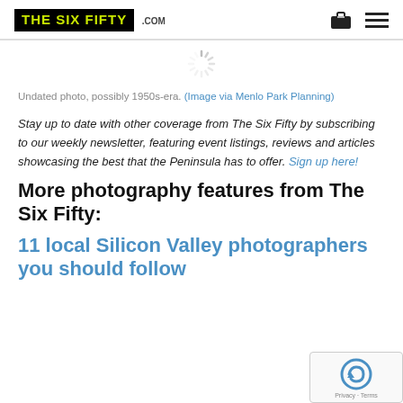THE SIX FIFTY .COM
[Figure (other): Loading spinner icon (gray radial lines)]
Undated photo, possibly 1950s-era. (Image via Menlo Park Planning)
Stay up to date with other coverage from The Six Fifty by subscribing to our weekly newsletter, featuring event listings, reviews and articles showcasing the best that the Peninsula has to offer. Sign up here!
More photography features from The Six Fifty:
11 local Silicon Valley photographers you should follow